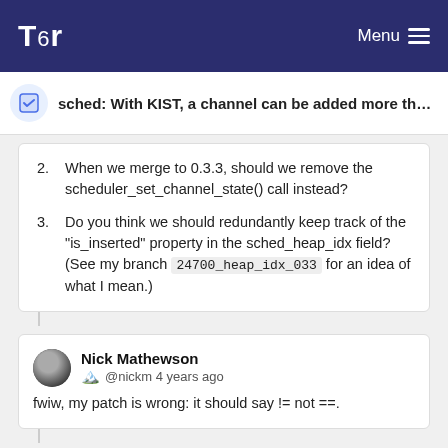Tor | Menu
sched: With KIST, a channel can be added more than o...
2. When we merge to 0.3.3, should we remove the scheduler_set_channel_state() call instead?
3. Do you think we should redundantly keep track of the "is_inserted" property in the sched_heap_idx field? (See my branch 24700_heap_idx_033 for an idea of what I mean.)
Nick Mathewson
@nickm 4 years ago
fwiw, my patch is wrong: it should say != not ==.
Nick Mathewson